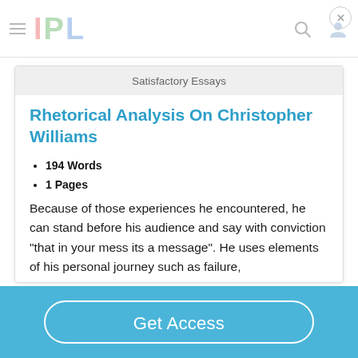IPL
Satisfactory Essays
Rhetorical Analysis On Christopher Williams
194 Words
1 Pages
Because of those experiences he encountered, he can stand before his audience and say with conviction "that in your mess its a message". He uses elements of his personal journey such as failure, embarrassment, and loneliness…
Read More
Get Access